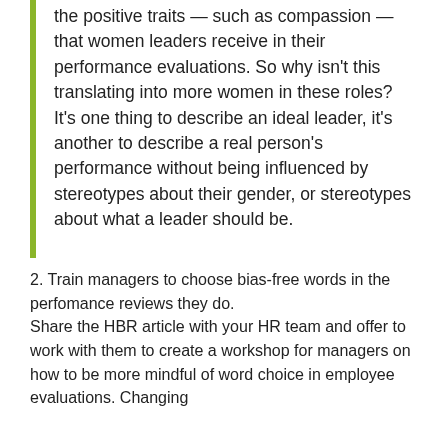the positive traits — such as compassion — that women leaders receive in their performance evaluations. So why isn't this translating into more women in these roles? It's one thing to describe an ideal leader, it's another to describe a real person's performance without being influenced by stereotypes about their gender, or stereotypes about what a leader should be.
2. Train managers to choose bias-free words in the perfomance reviews they do. Share the HBR article with your HR team and offer to work with them to create a workshop for managers on how to be more mindful of word choice in employee evaluations. Changing